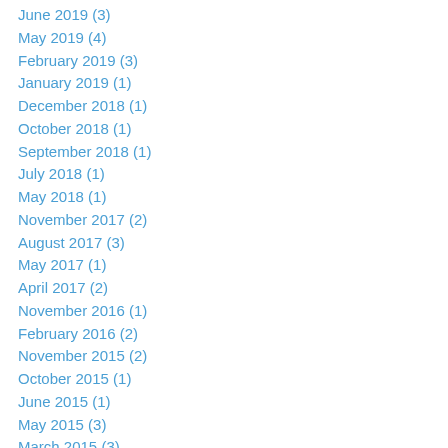June 2019 (3)
May 2019 (4)
February 2019 (3)
January 2019 (1)
December 2018 (1)
October 2018 (1)
September 2018 (1)
July 2018 (1)
May 2018 (1)
November 2017 (2)
August 2017 (3)
May 2017 (1)
April 2017 (2)
November 2016 (1)
February 2016 (2)
November 2015 (2)
October 2015 (1)
June 2015 (1)
May 2015 (3)
March 2015 (3)